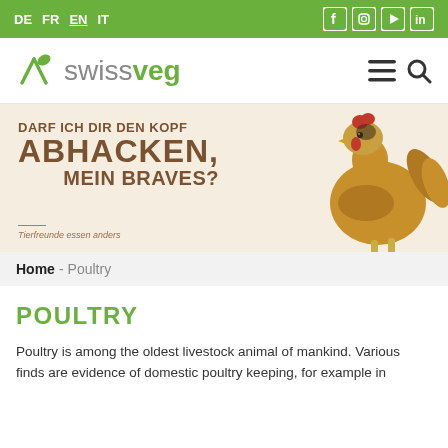DE  FR  EN  IT  [social icons: Facebook, Instagram, YouTube, LinkedIn]
[Figure (logo): SwissVeg logo with green leaf icon and text 'swissveg', hamburger menu and search icons on the right]
[Figure (illustration): Banner with beige background showing text in brown: 'DARF ICH DIR DEN KOPF ABHACKEN, MEIN BRAVES?' with a chicken illustration on the right and tagline 'Tierfreunde essen anders']
Home - Poultry
POULTRY
Poultry is among the oldest livestock animal of mankind. Various finds are evidence of domestic poultry keeping, for example in